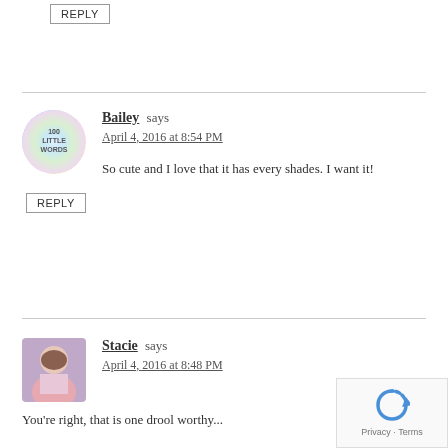REPLY
Bailey says
April 4, 2016 at 8:54 PM

So cute and I love that it has every shades. I want it!
REPLY
Stacie says
April 4, 2016 at 8:48 PM

You're right, that is one drool worthy...